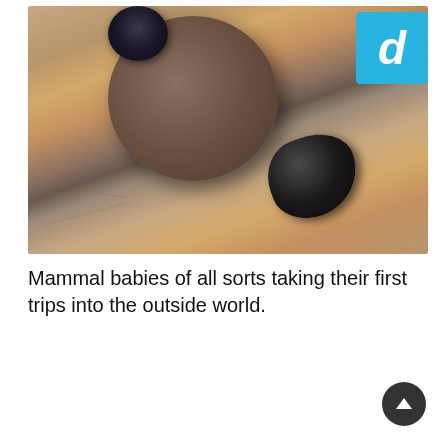[Figure (photo): Close-up photograph of a dung beetle pushing a large round dung ball on sandy ground. The beetle is dark/black in color and is positioned behind the large brown spherical ball. Sandy soil background with shadows visible.]
Mammal babies of all sorts taking their first trips into the outside world.